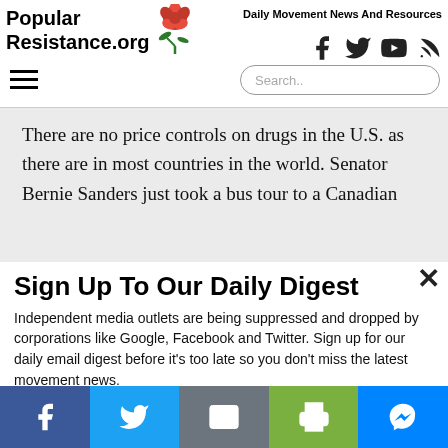Popular Resistance.org — Daily Movement News And Resources
There are no price controls on drugs in the U.S. as there are in most countries in the world. Senator Bernie Sanders just took a bus tour to a Canadian
Sign Up To Our Daily Digest
Independent media outlets are being suppressed and dropped by corporations like Google, Facebook and Twitter. Sign up for our daily email digest before it's too late so you don't miss the latest movement news.
Email